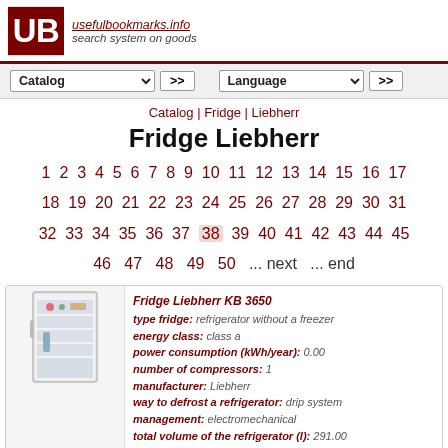usefulbookmarks.info search system on goods
[Figure (screenshot): Navigation bar with Catalog dropdown and Language dropdown, each followed by a >> button]
Catalog | Fridge | Liebherr
Fridge Liebherr
1 2 3 4 5 6 7 8 9 10 11 12 13 14 15 16 17 18 19 20 21 22 23 24 25 26 27 28 29 30 31 32 33 34 35 36 37 38 39 40 41 42 43 44 45 46 47 48 49 50 ... next ... end
[Figure (photo): Photo of a Liebherr KB 3650 refrigerator with open door showing food inside]
Fridge Liebherr KB 3650
type fridge: refrigerator without a freezer
energy class: class a
power consumption (kWh/year): 0.00
number of compressors: 1
manufacturer: Liebherr
way to defrost a refrigerator: drip system
management: electromechanical
total volume of the refrigerator (l): 291.00
height (cm): 164.40